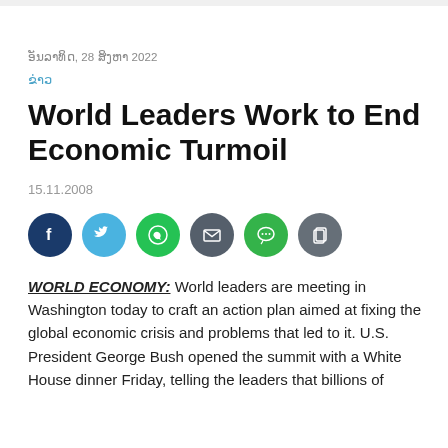ອັນລາທິດ, 28 ສິງຫາ 2022
ຂ່າວ
World Leaders Work to End Economic Turmoil
15.11.2008
[Figure (other): Social media share icons: Facebook, Twitter, WhatsApp, Email, Line, Copy]
WORLD ECONOMY: World leaders are meeting in Washington today to craft an action plan aimed at fixing the global economic crisis and problems that led to it. U.S. President George Bush opened the summit with a White House dinner Friday, telling the leaders that billions of